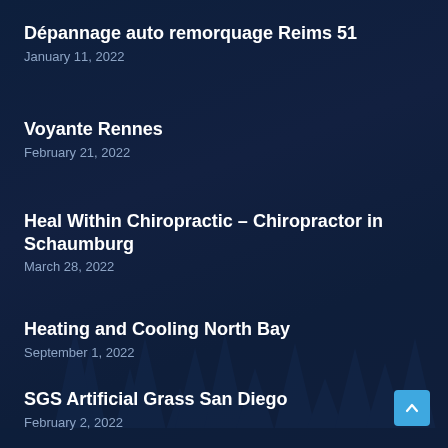Dépannage auto remorquage Reims 51
January 11, 2022
Voyante Rennes
February 21, 2022
Heal Within Chiropractic – Chiropractor in Schaumburg
March 28, 2022
Heating and Cooling North Bay
September 1, 2022
SGS Artificial Grass San Diego
February 2, 2022